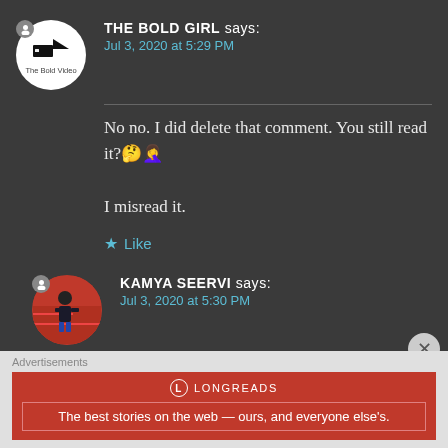THE BOLD GIRL says: Jul 3, 2020 at 5:29 PM
No no. I did delete that comment. You still read it?🤔🤦‍♀️

I misread it.
★ Like
KAMYA SEERVI says: Jul 3, 2020 at 5:30 PM
Advertisements
[Figure (logo): Longreads advertisement banner: circular L logo, text 'LONGREADS', tagline 'The best stories on the web — ours, and everyone else's.']